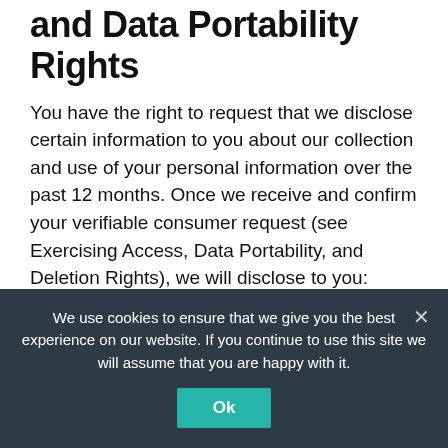and Data Portability Rights
You have the right to request that we disclose certain information to you about our collection and use of your personal information over the past 12 months. Once we receive and confirm your verifiable consumer request (see Exercising Access, Data Portability, and Deletion Rights), we will disclose to you:
The categories of personal information we've collected about you.
We use cookies to ensure that we give you the best experience on our website. If you continue to use this site we will assume that you are happy with it.